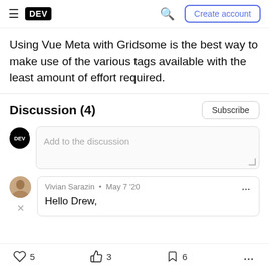DEV — Create account
Using Vue Meta with Gridsome is the best way to make use of the various tags available with the least amount of effort required.
Discussion (4)
Add to the discussion
Vivian Sarazin · May 7 '20
Hello Drew,